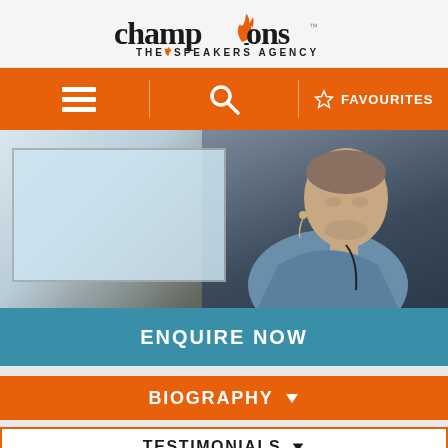[Figure (logo): Champions The Speakers Agency logo — wordmark with a torch/flame icon replacing the 'i' in champions]
[Figure (infographic): Orange navigation bar with hamburger menu icon on left, search magnifying glass icon in center, star and FAVOURITES text on right, separated by vertical dividers]
[Figure (photo): Speaker on stage wearing blue shirt and headset microphone, presentation screen visible in background]
ENQUIRE NOW
BIOGRAPHY
TESTIMONIALS